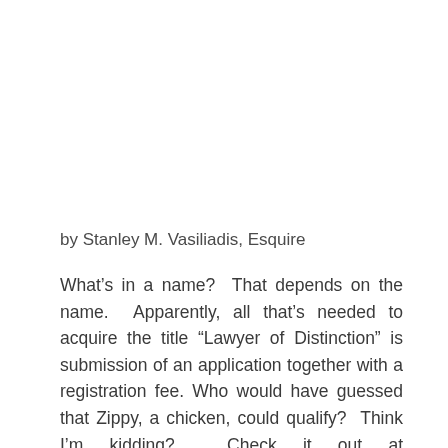by Stanley M. Vasiliadis, Esquire
What’s in a name?  That depends on the name.  Apparently, all that’s needed to acquire the title “Lawyer of Distinction” is submission of an application together with a registration fee. Who would have guessed that Zippy, a chicken, could qualify?  Think I’m kidding?  Check it out at https://mockingbird.marketing/lawyers-distinction-cease-desist-threat/